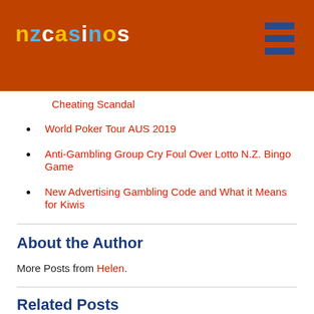[Figure (logo): NZCasinos logo in yellow, blue, and white on orange background with hamburger menu icon]
Cheating Scandal
World Poker Tour AUS 2019
Anti-Gambling Group Cry Foul Over Lotto N.Z. Bingo Game
New Advertising Gambling Code and What it Means for Kiwis
About the Author
More Posts from Helen.
Related Posts